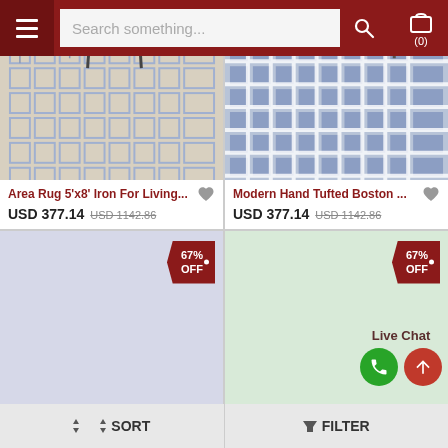Search something... (0)
[Figure (photo): Area rug with geometric maze pattern in blue-grey tones, viewed from above]
Area Rug 5'x8' Iron For Living... USD 377.14 USD 1142.86
[Figure (photo): Modern hand tufted rug with geometric maze pattern in blue tones]
Modern Hand Tufted Boston ... USD 377.14 USD 1142.86
[Figure (photo): Product loading placeholder with light purple/lavender background and 67% OFF badge]
[Figure (photo): Product loading placeholder with light green background, 67% OFF badge, Live Chat widget]
SORT   FILTER